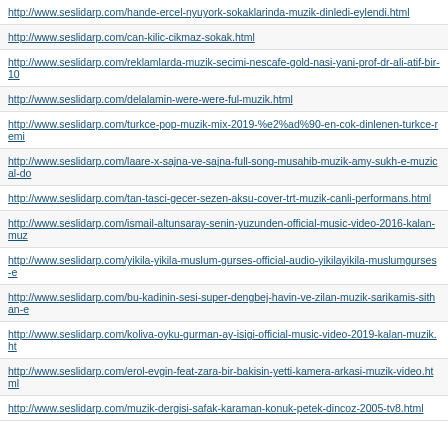http://www.seslidarp.com/hande-ercel-nyuyork-sokaklarinda-muzik-dinledi-eylendi.html
http://www.seslidarp.com/can-kilic-cikmaz-sokak.html
http://www.seslidarp.com/reklamlarda-muzik-secimi-nescafe-gold-nasi-yani-prof-dr-ali-atif-bir-10
http://www.seslidarp.com/delalamin-were-were-ful-muzik.html
http://www.seslidarp.com/turkce-pop-muzik-mix-2019-%e2%ad%90-en-cok-dinlenen-turkce-remi
http://www.seslidarp.com/laare-x-sajna-ve-sajna-full-song-musahib-muzik-amy-sukh-e-muzical-do
http://www.seslidarp.com/tan-tasci-gecer-sezen-aksu-cover-trt-muzik-canli-performans.html
http://www.seslidarp.com/ismail-altunsaray-senin-yuzunden-official-music-video-2016-kalan-muz
http://www.seslidarp.com/yikila-yikila-muslum-gurses-official-audio-yikilayikila-muslumgurses-e
http://www.seslidarp.com/bu-kadinin-sesi-super-dengbej-havin-ve-zilan-muzik-sarikamis-sithan-e
http://www.seslidarp.com/koliva-oyku-gurman-ay-isigi-official-music-video-2019-kalan-muzik.ht
http://www.seslidarp.com/erol-evgin-feat-zara-bir-bakisin-yetti-kamera-arkasi-muzik-video.html
http://www.seslidarp.com/muzik-dergisi-safak-karaman-konuk-petek-dincoz-2005-tv8.html